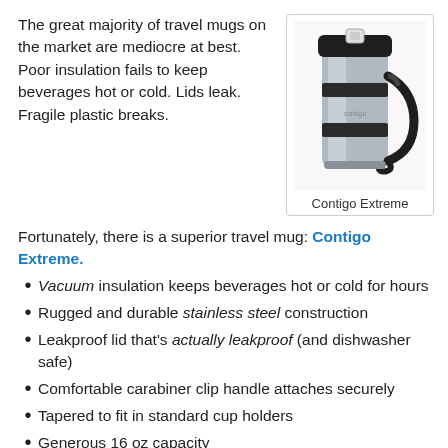The great majority of travel mugs on the market are mediocre at best. Poor insulation fails to keep beverages hot or cold. Lids leak. Fragile plastic breaks.
[Figure (photo): Photo of Contigo Extreme travel mug, stainless steel with black plastic handle and lid]
Contigo Extreme
Fortunately, there is a superior travel mug: Contigo Extreme.
Vacuum insulation keeps beverages hot or cold for hours
Rugged and durable stainless steel construction
Leakproof lid that's actually leakproof (and dishwasher safe)
Comfortable carabiner clip handle attaches securely
Tapered to fit in standard cup holders
Generous 16 oz capacity
Lifetime guarantee
Sold by Target at discount